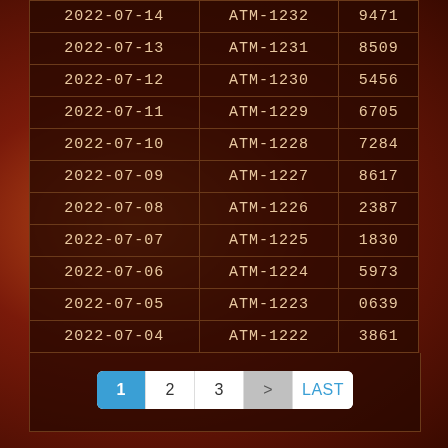| 2022-07-14 | ATM-1232 | 9471 |
| 2022-07-13 | ATM-1231 | 8509 |
| 2022-07-12 | ATM-1230 | 5456 |
| 2022-07-11 | ATM-1229 | 6705 |
| 2022-07-10 | ATM-1228 | 7284 |
| 2022-07-09 | ATM-1227 | 8617 |
| 2022-07-08 | ATM-1226 | 2387 |
| 2022-07-07 | ATM-1225 | 1830 |
| 2022-07-06 | ATM-1224 | 5973 |
| 2022-07-05 | ATM-1223 | 0639 |
| 2022-07-04 | ATM-1222 | 3861 |
Pagination: 1 2 3 > LAST